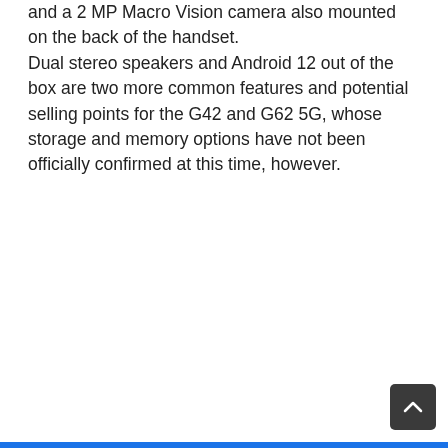and a 2 MP Macro Vision camera also mounted on the back of the handset. Dual stereo speakers and Android 12 out of the box are two more common features and potential selling points for the G42 and G62 5G, whose storage and memory options have not been officially confirmed at this time, however.